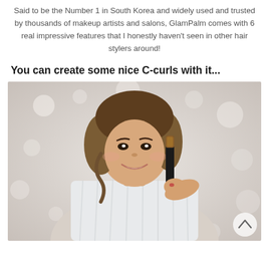Said to be the Number 1 in South Korea and widely used and trusted by thousands of makeup artists and salons, GlamPalm comes with 6 real impressive features that I honestly haven't seen in other hair stylers around!
You can create some nice C-curls with it...
[Figure (photo): A smiling Asian woman with a chin-length bob hairstyle styled into C-curls, holding a GlamPalm hair straightener/styler near her face. She is wearing a white striped blouse. Background shows soft bokeh lights. A scroll-up arrow button is visible in the bottom right corner.]